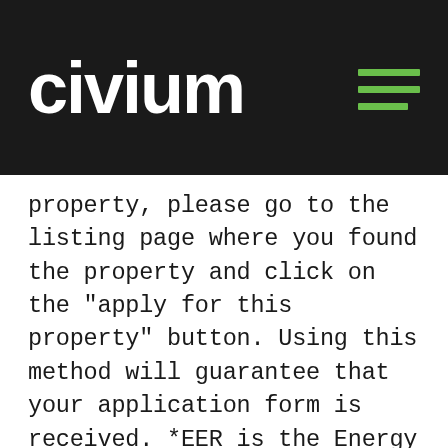civium
property, please go to the listing page where you found the property and click on the "apply for this property" button. Using this method will guarantee that your application form is received. *EER is the Energy Efficiency Rating. An EER rating can be issued anytime from 1997. We advise you check the issue date of an EER, if the rating is of importance to you when choosing a property. Where N/A is noted, this is because the property has not had an EER assessment since 1997 onwards. While all care has been taken in compiling this information, we accept no responsibility and